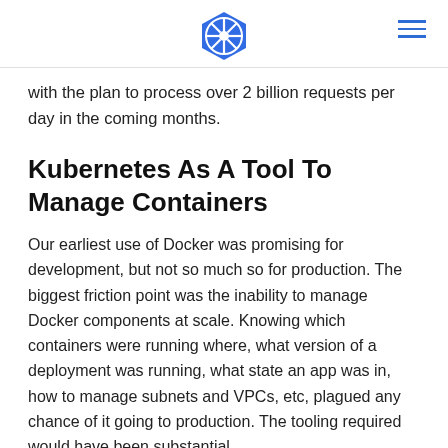[Kubernetes logo] [hamburger menu]
with the plan to process over 2 billion requests per day in the coming months.
Kubernetes As A Tool To Manage Containers
Our earliest use of Docker was promising for development, but not so much so for production. The biggest friction point was the inability to manage Docker components at scale. Knowing which containers were running where, what version of a deployment was running, what state an app was in, how to manage subnets and VPCs, etc, plagued any chance of it going to production. The tooling required would have been substantial.